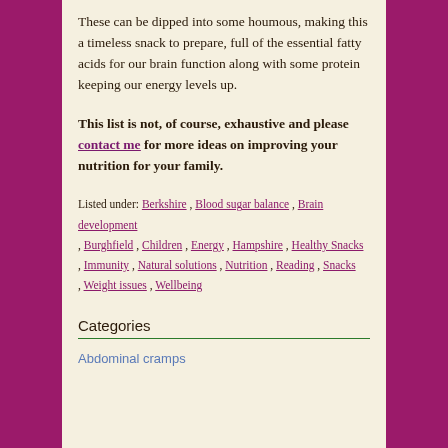These can be dipped into some houmous, making this a timeless snack to prepare, full of the essential fatty acids for our brain function along with some protein keeping our energy levels up.
This list is not, of course, exhaustive and please contact me for more ideas on improving your nutrition for your family.
Listed under: Berkshire , Blood sugar balance , Brain development , Burghfield , Children , Energy , Hampshire , Healthy Snacks , Immunity , Natural solutions , Nutrition , Reading , Snacks , Weight issues , Wellbeing
Categories
Abdominal cramps